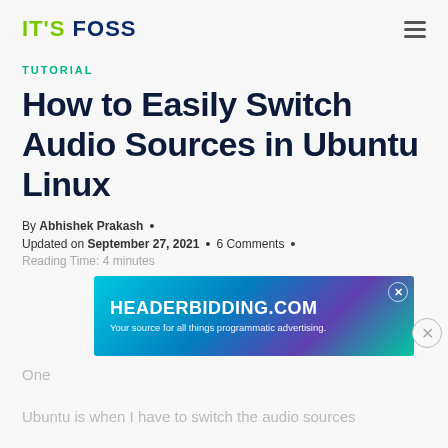IT'S FOSS
TUTORIAL
How to Easily Switch Audio Sources in Ubuntu Linux
By Abhishek Prakash • Updated on September 27, 2021 • 6 Comments •
Reading Time: 4 minutes
[Figure (other): Advertisement banner for HEADERBIDDING.COM - Your source for all things programmatic advertising.]
One ... Ubuntu is when I have to switch the audio sources ...